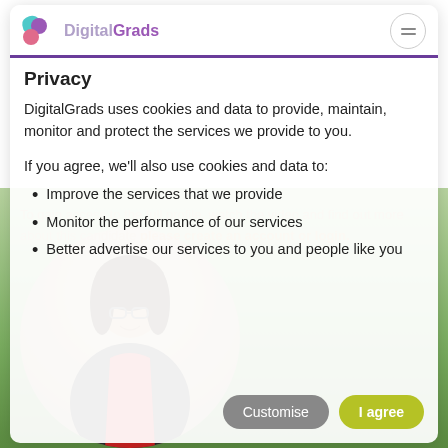Privacy
DigitalGrads
DigitalGrads uses cookies and data to provide, maintain, monitor and protect the services we provide to you.
If you agree, we'll also use cookies and data to:
Improve the services that we provide
Monitor the performance of our services
Better advertise our services to you and people like you
To gain access to the full profile, watch the video and find out more about this candidate please create an account or login.